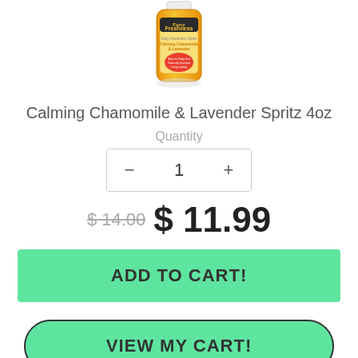[Figure (photo): Furry Freshness Calming Chamomile & Lavender Spritz 4oz product bottle with orange and yellow label]
Calming Chamomile & Lavender Spritz 4oz
Quantity
1
$ 14.00  $ 11.99
ADD TO CART!
VIEW MY CART!